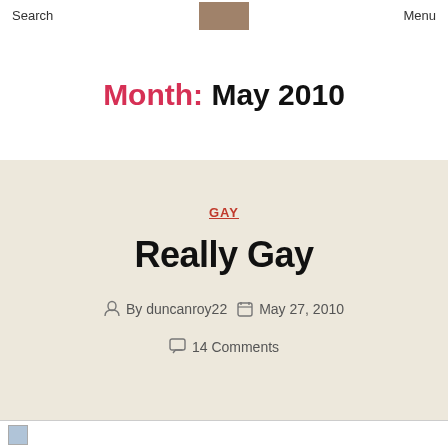Search   Menu
Month: May 2010
GAY
Really Gay
By duncanroy22   May 27, 2010   14 Comments